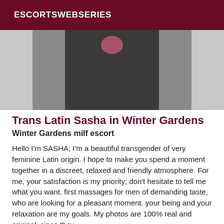ESCORTSWEBSERIES
[Figure (photo): A close-up photo with dark tones, showing a person against a light/grey background. The image is cropped and partially visible.]
Trans Latin Sasha in Winter Gardens
Winter Gardens milf escort
Hello I'm SASHA; I'm a beautiful transgender of very feminine Latin origin. I hope to make you spend a moment together in a discreet, relaxed and friendly atmosphere. For me, your satisfaction is my priority; don't hesitate to tell me what you want. first massages for men of demanding taste, who are looking for a pleasant moment. your being and your relaxation are my goals. My photos are 100% real and original, since they